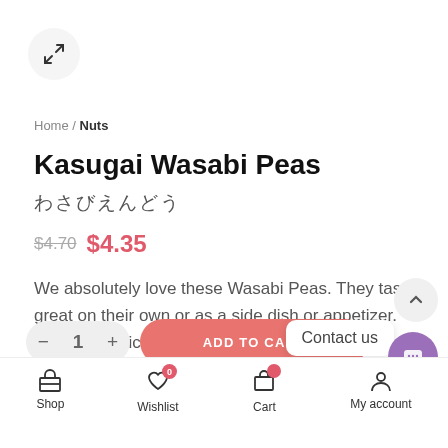[Figure (other): Expand/zoom button icon (arrows pointing outward) in a circular light grey button]
Home / Nuts
Kasugai Wasabi Peas
わさびえんどう
$4.70  $4.35
We absolutely love these Wasabi Peas. They taste great on their own or as a side dish or appetizer. They are deliciously savoury and aromatic.
[Figure (screenshot): Bottom navigation bar with Shop, Wishlist (badge 0), Cart, My account icons; Add to cart button; quantity selector; Contact us chat bubble; purple chat button; scroll-to-top button]